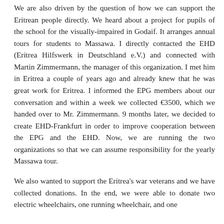We are also driven by the question of how we can support the Eritrean people directly. We heard about a project for pupils of the school for the visually-impaired in Godaif. It arranges annual tours for students to Massawa. I directly contacted the EHD (Eritrea Hilfswerk in Deutschland e.V.) and connected with Martin Zimmermann, the manager of this organization. I met him in Eritrea a couple of years ago and already knew that he was great work for Eritrea. I informed the EPG members about our conversation and within a week we collected €3500, which we handed over to Mr. Zimmermann. 9 months later, we decided to create EHD-Frankfurt in order to improve cooperation between the EPG and the EHD. Now, we are running the two organizations so that we can assume responsibility for the yearly Massawa tour.
We also wanted to support the Eritrea's war veterans and we have collected donations. In the end, we were able to donate two electric wheelchairs, one running wheelchair, and one...